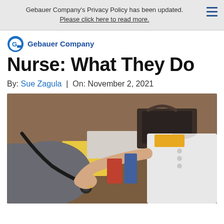Gebauer Company's Privacy Policy has been updated. Please click here to read more.
[Figure (logo): Gebauer Company logo — blue circular G icon with 'Gebauer Company' text in bold blue]
Nurse: What They Do
By: Sue Zagula | On: November 2, 2021
[Figure (photo): A nurse in white uniform using a stethoscope on a patient's arm, taken in a clinical/office setting]